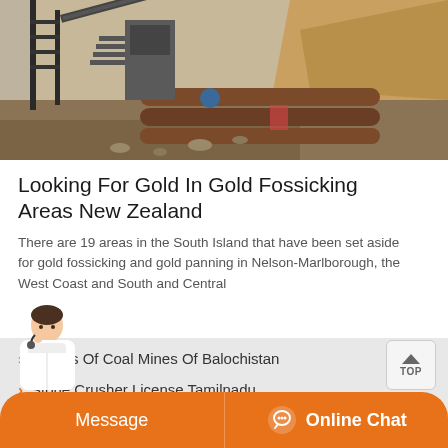[Figure (photo): Mining site with large metal pipes, industrial equipment, scaffolding, and excavated earth/soil]
Looking For Gold In Gold Fossicking Areas New Zealand
There are 19 areas in the South Island that have been set aside for gold fossicking and gold panning in Nelson-Marlborough, the West Coast and South and Central
Names Of Coal Mines Of Balochistan
Stone Crusher License Tamilnadu
Stone Dressing Metal D...